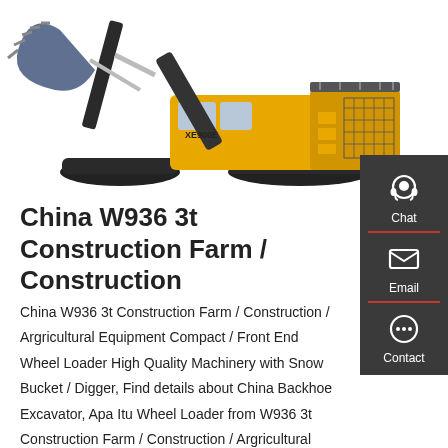[Figure (photo): Large yellow construction excavator/mining face shovel with blue bucket and crawler tracks, photographed on white background. Model appears to be XCMG XE900E or similar large face shovel.]
China W936 3t Construction Farm / Construction
China W936 3t Construction Farm / Construction / Argricultural Equipment Compact / Front End Wheel Loader High Quality Machinery with Snow Bucket / Digger, Find details about China Backhoe Excavator, Apa Itu Wheel Loader from W936 3t Construction Farm / Construction / Argricultural Equipment Compact / Front End Wheel Loader High Quality Machinery with Snow